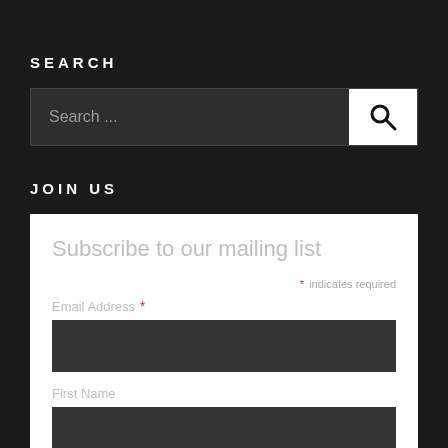SEARCH
[Figure (screenshot): Search bar with text input showing placeholder 'Search ...' and a white search button with magnifying glass icon]
JOIN US
Subscribe to our mailing list
* indicates required
Email Address *
First Name